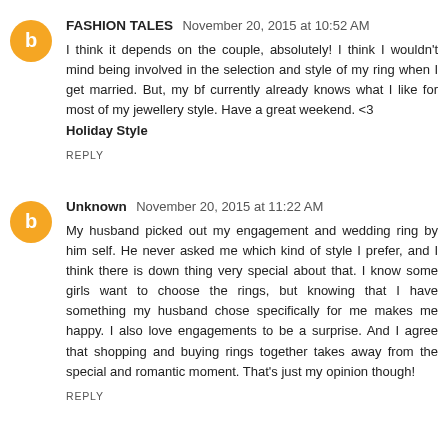FASHION TALES  November 20, 2015 at 10:52 AM
I think it depends on the couple, absolutely! I think I wouldn't mind being involved in the selection and style of my ring when I get married. But, my bf currently already knows what I like for most of my jewellery style. Have a great weekend. <3
Holiday Style
REPLY
Unknown  November 20, 2015 at 11:22 AM
My husband picked out my engagement and wedding ring by him self. He never asked me which kind of style I prefer, and I think there is down thing very special about that. I know some girls want to choose the rings, but knowing that I have something my husband chose specifically for me makes me happy. I also love engagements to be a surprise. And I agree that shopping and buying rings together takes away from the special and romantic moment. That's just my opinion though!
REPLY